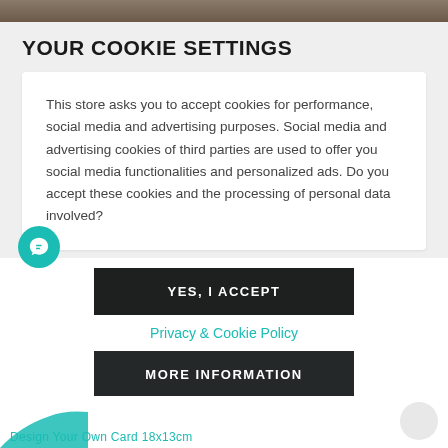[Figure (photo): Top image strip showing a dark brownish background, partial view of a scene]
YOUR COOKIE SETTINGS
This store asks you to accept cookies for performance, social media and advertising purposes. Social media and advertising cookies of third parties are used to offer you social media functionalities and personalized ads. Do you accept these cookies and the processing of personal data involved?
YES, I ACCEPT
Privacy & Cookie Policy
MORE INFORMATION
Design Your Own Card 18x13cm